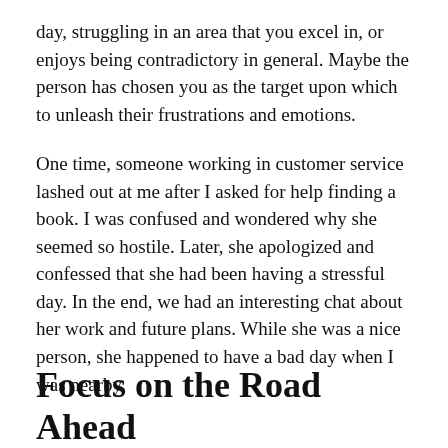day, struggling in an area that you excel in, or enjoys being contradictory in general. Maybe the person has chosen you as the target upon which to unleash their frustrations and emotions.
One time, someone working in customer service lashed out at me after I asked for help finding a book. I was confused and wondered why she seemed so hostile. Later, she apologized and confessed that she had been having a stressful day. In the end, we had an interesting chat about her work and future plans. While she was a nice person, she happened to have a bad day when I was nearby.
Focus on the Road Ahead